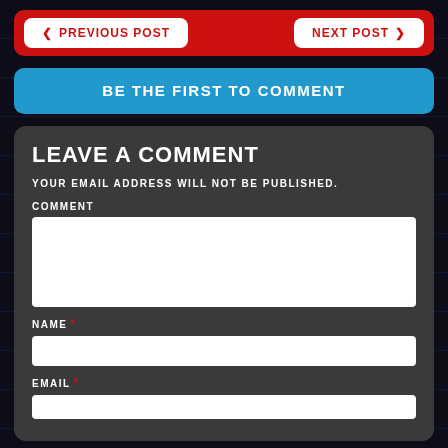[Figure (screenshot): Navigation buttons row with red background. Left button: '< PREVIOUS POST', right button: 'NEXT POST >']
[Figure (screenshot): Blue banner button with text 'BE THE FIRST TO COMMENT']
LEAVE A COMMENT
YOUR EMAIL ADDRESS WILL NOT BE PUBLISHED.
COMMENT
NAME *
EMAIL *